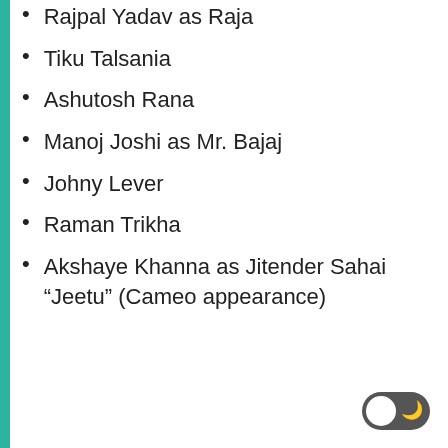Rajpal Yadav as Raja
Tiku Talsania
Ashutosh Rana
Manoj Joshi as Mr. Bajaj
Johny Lever
Raman Trikha
Akshaye Khanna as Jitender Sahai “Jeetu” (Cameo appearance)